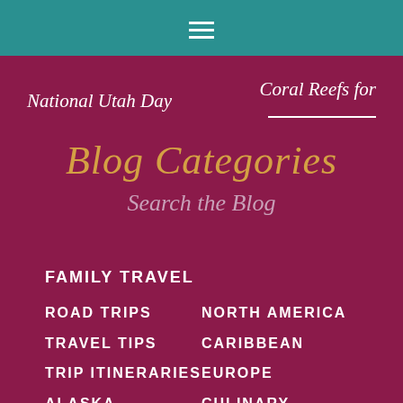Navigation bar with hamburger menu icon
National Utah Day
Coral Reefs for
Blog Categories
Search the Blog
FAMILY TRAVEL
ROAD TRIPS
TRAVEL TIPS
TRIP ITINERARIES
ALASKA
NORTH AMERICA
CARIBBEAN
EUROPE
CULINARY